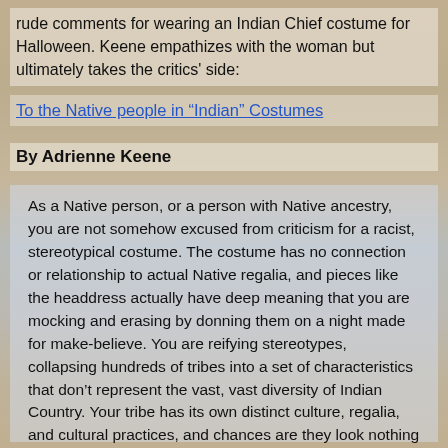rude comments for wearing an Indian Chief costume for Halloween. Keene empathizes with the woman but ultimately takes the critics' side:
To the Native people in “Indian” Costumes
By Adrienne Keene
As a Native person, or a person with Native ancestry, you are not somehow excused from criticism for a racist, stereotypical costume. The costume has no connection or relationship to actual Native regalia, and pieces like the headdress actually have deep meaning that you are mocking and erasing by donning them on a night made for make-believe. You are reifying stereotypes, collapsing hundreds of tribes into a set of characteristics that don’t represent the vast, vast diversity of Indian Country. Your tribe has its own distinct culture, regalia, and cultural practices, and chances are they look nothing like the mess you’re wearing for a party.